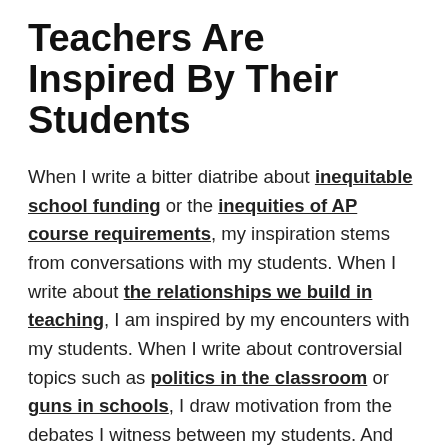Teachers Are Inspired By Their Students
When I write a bitter diatribe about inequitable school funding or the inequities of AP course requirements, my inspiration stems from conversations with my students. When I write about the relationships we build in teaching, I am inspired by my encounters with my students. When I write about controversial topics such as politics in the classroom or guns in schools, I draw motivation from the debates I witness between my students. And when I write about educator apprehension or teacher self-efficacy, I do so because I fear I'm not enough